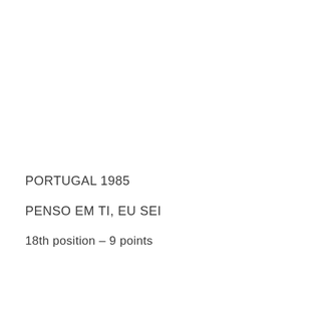PORTUGAL 1985
PENSO EM TI, EU SEI
18th position – 9 points